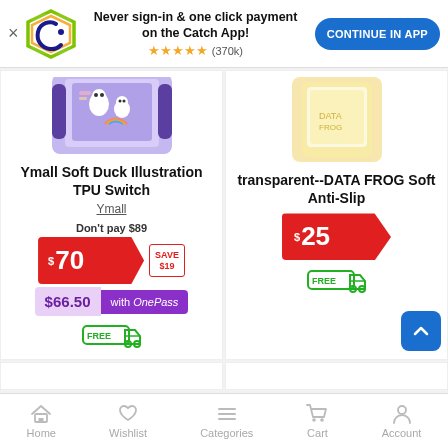[Figure (screenshot): App banner with Catch logo, text 'Never sign-in & one click payment on the Catch App!', star rating 5 stars (370k), and CONTINUE IN APP button]
[Figure (photo): Ymall Soft Duck Illustration TPU Switch case product image - purple Nintendo Switch case with duck illustrations]
Ymall Soft Duck Illustration TPU Switch
Ymall
Don't pay $89
$70 SAVE $19
$66.50 with OnePass
FREE delivery
[Figure (photo): transparent--DATA FROG Soft Anti-Slip product image - yellow/clear Nintendo Switch case]
transparent--DATA FROG Soft Anti-Slip
$25
FREE delivery
Home   Wishlist   Categories   Cart   Account